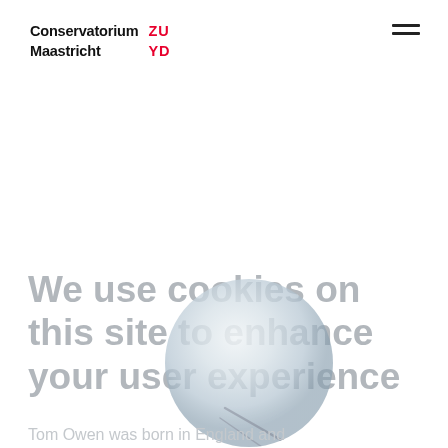Conservatorium Maastricht ZUYD
We use cookies on this site to enhance your user experience
[Figure (photo): Translucent glass or crystal ball overlapping the cookie consent text]
Tom Owen was born in England and